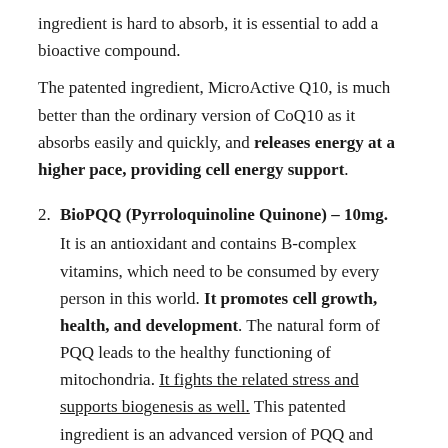ingredient is hard to absorb, it is essential to add a bioactive compound.
The patented ingredient, MicroActive Q10, is much better than the ordinary version of CoQ10 as it absorbs easily and quickly, and releases energy at a higher pace, providing cell energy support.
BioPQQ (Pyrroloquinoline Quinone) – 10mg. It is an antioxidant and contains B-complex vitamins, which need to be consumed by every person in this world. It promotes cell growth, health, and development. The natural form of PQQ leads to the healthy functioning of mitochondria. It fights the related stress and supports biogenesis as well. This patented ingredient is an advanced version of PQQ and protects and multiplies mitochondria.